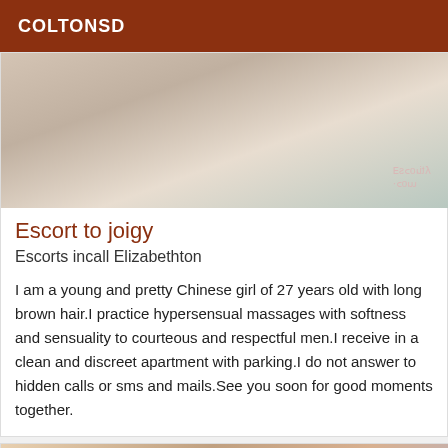COLTONSD
[Figure (photo): Close-up photo showing skin and fabric with a watermark reading 'Escortify.com' mirrored]
Escort to joigy
Escorts incall Elizabethton
I am a young and pretty Chinese girl of 27 years old with long brown hair.I practice hypersensual massages with softness and sensuality to courteous and respectful men.I receive in a clean and discreet apartment with parking.I do not answer to hidden calls or sms and mails.See you soon for good moments together.
[Figure (photo): Close-up photo of a person's face with a 'Verified' badge overlay]